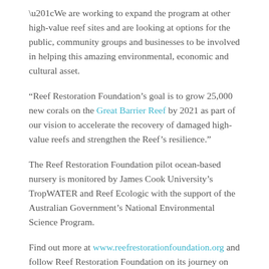“We are working to expand the program at other high-value reef sites and are looking at options for the public, community groups and businesses to be involved in helping this amazing environmental, economic and cultural asset.
“Reef Restoration Foundation’s goal is to grow 25,000 new corals on the Great Barrier Reef by 2021 as part of our vision to accelerate the recovery of damaged high-value reefs and strengthen the Reef’s resilience.”
The Reef Restoration Foundation pilot ocean-based nursery is monitored by James Cook University’s TropWATER and Reef Ecologic with the support of the Australian Government’s National Environmental Science Program.
Find out more at www.reefrestorationfoundation.org and follow Reef Restoration Foundation on its journey on Facebook.